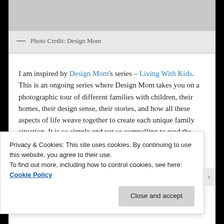[Figure (photo): Partial photo visible at top of page, showing a light background with minimal visible content]
— Photo Credit: Design Mom
I am inspired by Design Mom's series – Living With Kids. This is an ongoing series where Design Mom takes you on a photographic tour of different families with children, their homes, their design sense, their stories, and how all these aspects of life weave together to create each unique family situation. It is so simple and yet so compelling to read the Living With Kids series. You get to catch a glimpse of someone else's complicate, beautiful, intense, awesome, family life. Sort of voyeuristic, butnot in a creepy way.
Privacy & Cookies: This site uses cookies. By continuing to use this website, you agree to their use.
To find out more, including how to control cookies, see here: Cookie Policy